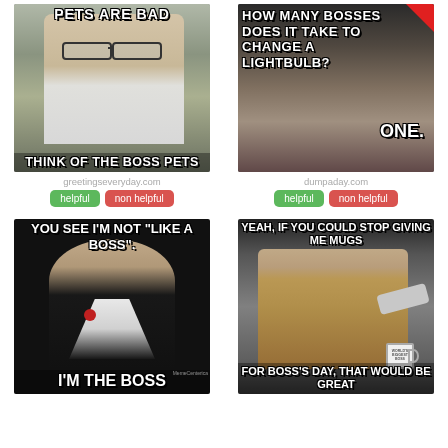[Figure (photo): Meme with a man wearing glasses (Dwight from The Office) with text 'PETS ARE BAD' at top and 'THINK OF THE BOSS PETS' at bottom]
[Figure (photo): Meme with airplane seats image, text 'HOW MANY BOSSES DOES IT TAKE TO CHANGE A LIGHTBULB?' at top and 'ONE.' at bottom]
greetingseveryday.com
dumpaday.com
helpful
non helpful
helpful
non helpful
[Figure (photo): Meme with The Godfather (Marlon Brando) image, text 'YOU SEE I'M NOT "LIKE A BOSS"' at top and 'I'M THE BOSS' at bottom]
[Figure (photo): Meme with office worker holding a mug, text 'YEAH, IF YOU COULD STOP GIVING ME MUGS' at top and 'FOR BOSS'S DAY, THAT WOULD BE GREAT' at bottom]